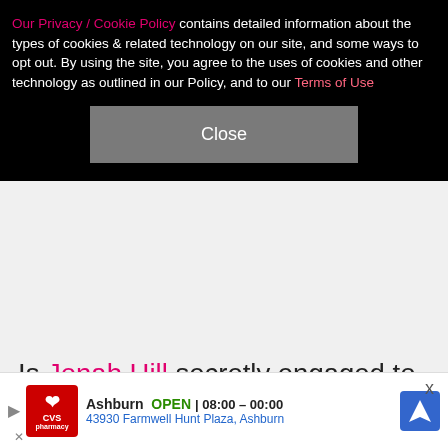Our Privacy / Cookie Policy contains detailed information about the types of cookies & related technology on our site, and some ways to opt out. By using the site, you agree to the uses of cookies and other technology as outlined in our Policy, and to our Terms of Use
Close
Is Jonah Hill secretly engaged to his girlfriend, surf instructor and environmental activist Sarah Brady? On Feb. 16, Deux Moi reported that, according to an anonymous source, "An A-list actor who has been away on vacation in Hawaii with his surfer girlfriend will return to Hollywood engaged! Friends say they'll come back engaged but want to keep the buzz on the DL!" Just two hours later, the Oscar-nominated actor — who spent Valentine's Day with his love in what appeared to be
[Figure (other): CVS Pharmacy advertisement banner showing store location: Ashburn, OPEN 08:00-00:00, 43930 Farmwell Hunt Plaza, Ashburn, with navigation icon]